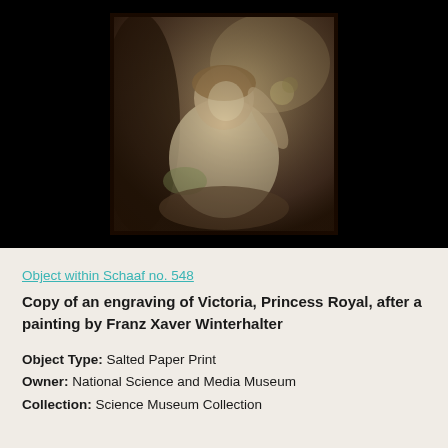[Figure (photo): Sepia-toned salted paper print photograph of a young child (Victoria, Princess Royal) holding flowers, after a painting by Franz Xaver Winterhalter. The photograph appears within a dark border on a black background.]
Object within Schaaf no. 548
Copy of an engraving of Victoria, Princess Royal, after a painting by Franz Xaver Winterhalter
Object Type: Salted Paper Print
Owner: National Science and Media Museum
Collection: Science Museum Collection